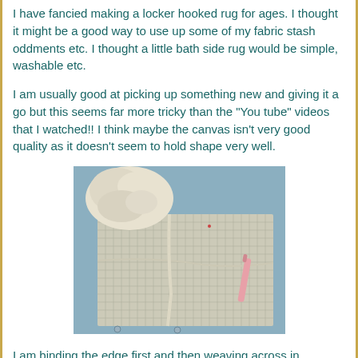I have fancied making a locker hooked rug for ages. I thought it might be a good way to use up some of my fabric stash oddments etc. I thought a little bath side rug would be simple, washable etc.
I am usually good at picking up something new and giving it a go but this seems far more tricky than the "You tube" videos that I watched!! I think maybe the canvas isn't very good quality as it doesn't seem to hold shape very well.
[Figure (photo): Photo of a mesh canvas/grid material on a blue surface with cream/white fabric strips being hooked through it, plus a pink clip tool visible on the right side.]
I am binding the edge first and then weaving across in